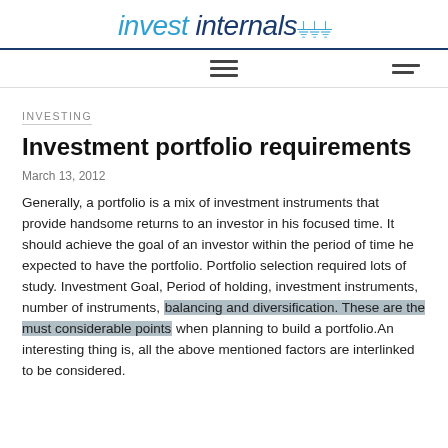invest internals
INVESTING
Investment portfolio requirements
March 13, 2012
Generally, a portfolio is a mix of investment instruments that provide handsome returns to an investor in his focused time. It should achieve the goal of an investor within the period of time he expected to have the portfolio. Portfolio selection required lots of study. Investment Goal, Period of holding, investment instruments, number of instruments, balancing and diversification. These are the must considerable points when planning to build a portfolio.An interesting thing is, all the above mentioned factors are interlinked to be considered.